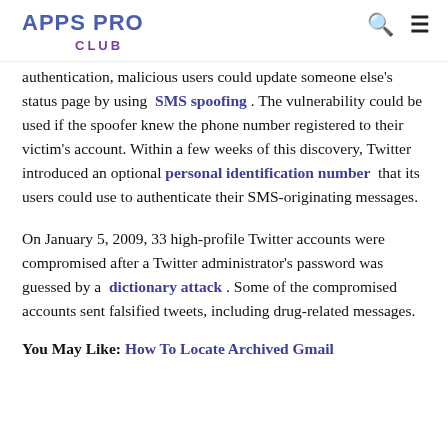APPS PRO CLUB
authentication, malicious users could update someone else's status page by using SMS spoofing. The vulnerability could be used if the spoofer knew the phone number registered to their victim's account. Within a few weeks of this discovery, Twitter introduced an optional personal identification number that its users could use to authenticate their SMS-originating messages.
On January 5, 2009, 33 high-profile Twitter accounts were compromised after a Twitter administrator's password was guessed by a dictionary attack. Some of the compromised accounts sent falsified tweets, including drug-related messages.
You May Like: How To Locate Archived Gmail